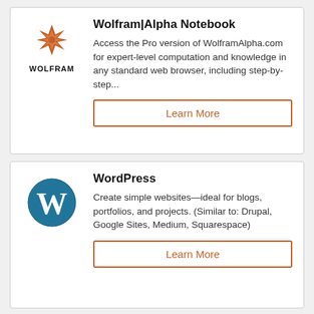[Figure (logo): Wolfram logo — red star/snowflake icon above bold text WOLFRAM]
Wolfram|Alpha Notebook
Access the Pro version of WolframAlpha.com for expert-level computation and knowledge in any standard web browser, including step-by-step...
Learn More
[Figure (logo): WordPress logo — blue circle with white W lettermark]
WordPress
Create simple websites—ideal for blogs, portfolios, and projects. (Similar to: Drupal, Google Sites, Medium, Squarespace)
Learn More